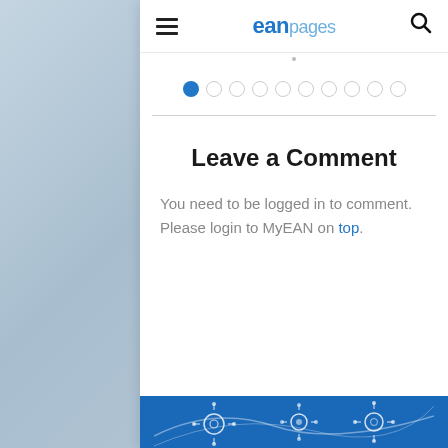eanpages
[Figure (other): Pagination dots: one filled blue circle followed by nine empty grey circles]
Leave a Comment
You need to be logged in to comment. Please login to MyEAN on top.
[Figure (illustration): Blue banner with white line art icons of virus/molecule shapes]